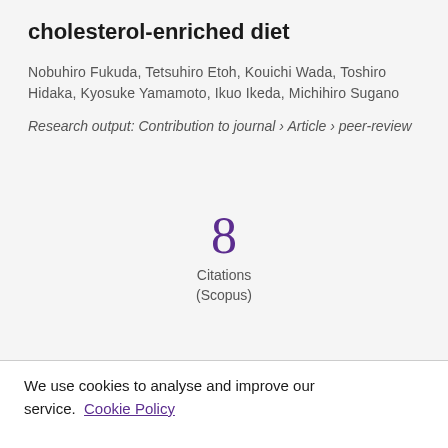cholesterol-enriched diet
Nobuhiro Fukuda, Tetsuhiro Etoh, Kouichi Wada, Toshiro Hidaka, Kyosuke Yamamoto, Ikuo Ikeda, Michihiro Sugano
Research output: Contribution to journal › Article › peer-review
8 Citations (Scopus)
We use cookies to analyse and improve our service. Cookie Policy